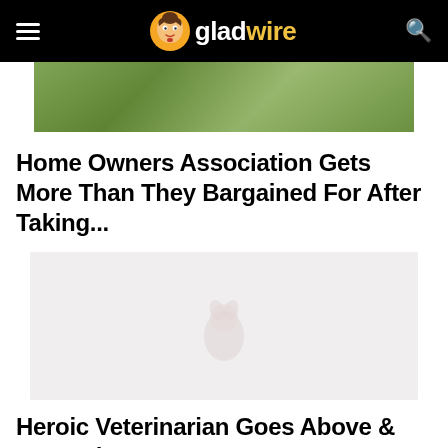gladwire
[Figure (photo): Aerial or outdoor scene with green lawn/grass area]
Home Owners Association Gets More Than They Bargained For After Taking...
[Figure (photo): Faded/washed out image of what appears to be an animal, possibly a dog or cat, in a light grey-toned photo]
Heroic Veterinarian Goes Above & Beyond To Save